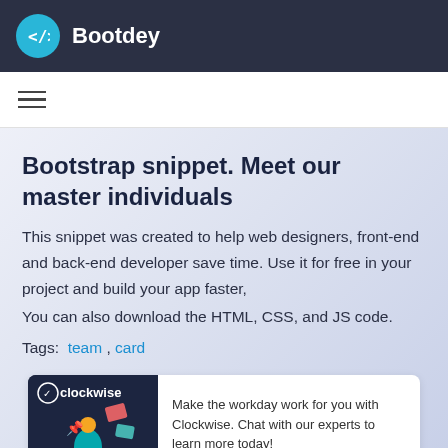Bootdey
[Figure (logo): Bootdey logo with code bracket icon in teal circle and white brand name on dark navy background]
Bootstrap snippet. Meet our master individuals
This snippet was created to help web designers, front-end and back-end developer save time. Use it for free in your project and build your app faster,
You can also download the HTML, CSS, and JS code.
Tags:  team , card
[Figure (illustration): Clockwise app advertisement card with dark background showing a person with calendar items and 'Make the workday work for you with Clockwise. Chat with our experts to learn more today!' text]